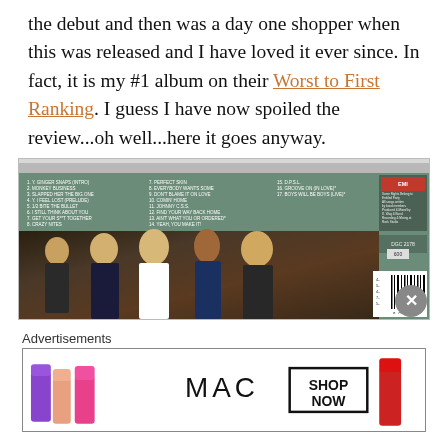the debut and then was a day one shopper when this was released and I have loved it ever since. In fact, it is my #1 album on their Worst to First Ranking. I guess I have now spoiled the review...oh well...here it goes anyway.
[Figure (photo): Back cover of a music album (CD case) showing a band of five members with big hair in a rock style pose, with a green/teal background and track listing visible at the top, plus a barcode in the bottom right corner.]
Advertisements
[Figure (photo): MAC cosmetics advertisement banner showing colorful lipsticks on the left and right, MAC logo in the center, and a SHOP NOW box.]